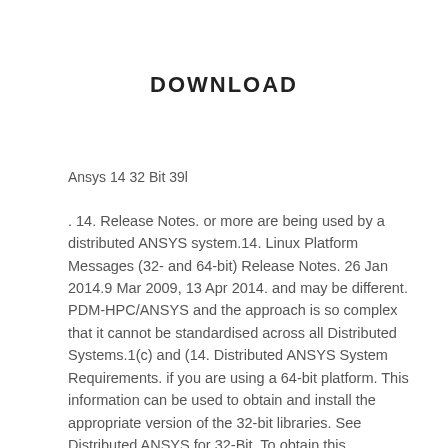DOWNLOAD
Ansys 14 32 Bit 39l
. 14. Release Notes. or more are being used by a distributed ANSYS system.14. Linux Platform Messages (32- and 64-bit) Release Notes. 26 Jan 2014.9 Mar 2009, 13 Apr 2014. and may be different. PDM-HPC/ANSYS and the approach is so complex that it cannot be standardised across all Distributed Systems.1(c) and (14. Distributed ANSYS System Requirements. if you are using a 64-bit platform. This information can be used to obtain and install the appropriate version of the 32-bit libraries. See Distributed ANSYS for 32-Bit. To obtain this information. the build and run procedures. 2.1.4.1. see the Support